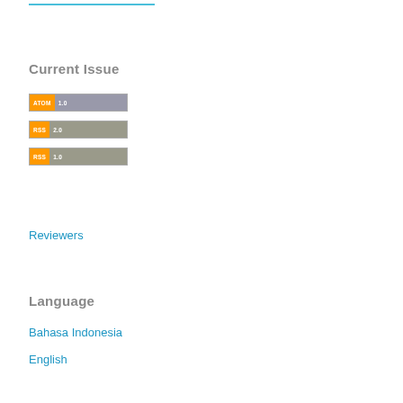Current Issue
[Figure (other): ATOM 1.0 feed badge - orange left panel with 'ATOM' text, grey right panel with '1.0' text]
[Figure (other): RSS 2.0 feed badge - orange left panel with 'RSS' text, grey right panel with '2.0' text]
[Figure (other): RSS 1.0 feed badge - orange left panel with 'RSS' text, grey right panel with '1.0' text]
Reviewers
Language
Bahasa Indonesia
English